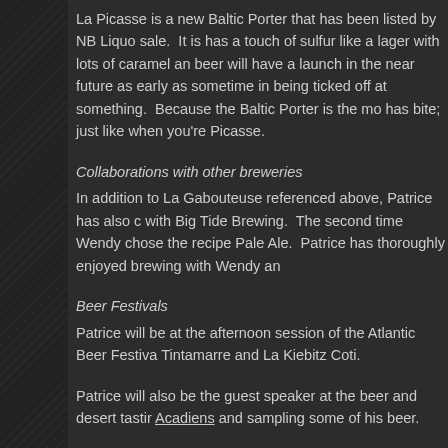La Picasse is a new Baltic Porter that has been listed by NB Liquo... sale. It is has a touch of sulfur like a lager with lots of caramel an... beer will have a launch in the near future as early as sometime in... being ticked off at something. Because the Baltic Porter is the mo... has bite; just like when you're Picasse.
Collaborations with other breweries
In addition to La Gabouteuse referenced above, Patrice has also c... with Big Tide Brewing. The second time Wendy chose the recipe... Pale Ale. Patrice has thoroughly enjoyed brewing with Wendy an...
Beer Festivals
Patrice will be at the afternoon session of the Atlantic Beer Festiva... Tintamarre and La Kiebitz Coti.
Patrice will also be the guest speaker at the beer and desert tastin... Acadiens and sampling some of his beer.
Distribution / Future Plans
Acadie-Broue beer is currently available exclusively on tap at the b... the size of the batches he is producing, offering his beer in growle...